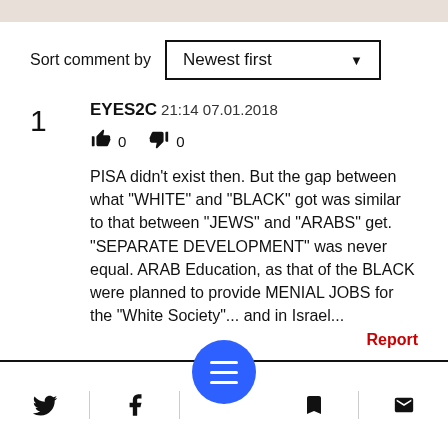Sort comment by  Newest first
1  EYES2C  21:14 07.01.2018
👍 0  👎 0
PISA didn't exist then. But the gap between what "WHITE" and "BLACK" got was similar to that between "JEWS" and "ARABS" get. "SEPARATE DEVELOPMENT" was never equal. ARAB Education, as that of the BLACK were planned to provide MENIAL JOBS for the "White Society"... and in Israel...
Report